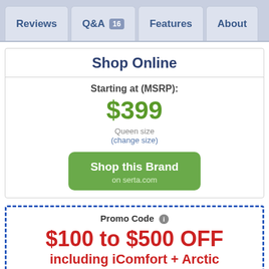Reviews | Q&A 16 | Features | About
Shop Online
Starting at (MSRP):
$399
Queen size
(change size)
Shop this Brand
on serta.com
Promo Code ℹ
$100 to $500 OFF
including iComfort + Arctic